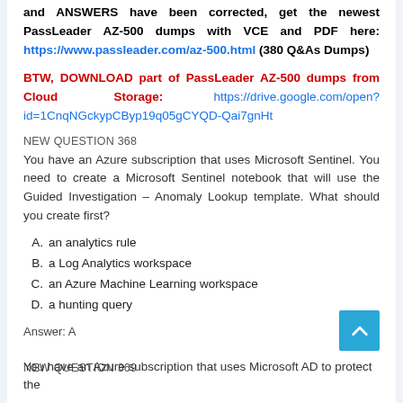and ANSWERS have been corrected, get the newest PassLeader AZ-500 dumps with VCE and PDF here: https://www.passleader.com/az-500.html (380 Q&As Dumps)
BTW, DOWNLOAD part of PassLeader AZ-500 dumps from Cloud Storage: https://drive.google.com/open?id=1CnqNGckypCByp19q05gCYQD-Qai7gnHt
NEW QUESTION 368
You have an Azure subscription that uses Microsoft Sentinel. You need to create a Microsoft Sentinel notebook that will use the Guided Investigation – Anomaly Lookup template. What should you create first?
A. an analytics rule
B. a Log Analytics workspace
C. an Azure Machine Learning workspace
D. a hunting query
Answer: A
NEW QUESTION 369
You have an Azure subscription that...